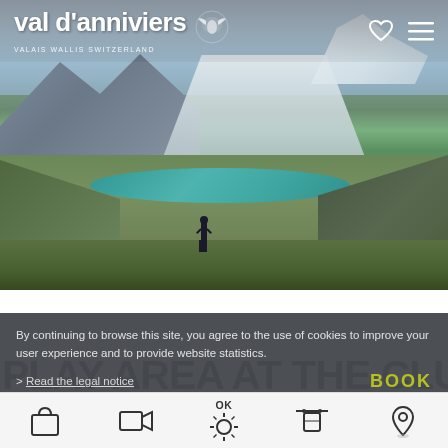[Figure (photo): Hero image of Val d'Anniviers mountain valley with turquoise lake, green hillsides, glacier and snow-capped peaks in background. Person standing with arms outstretched on a rocky ridge in the foreground.]
val d'anniviers — VALAIS WALLIS SWITZERLAND
By continuing to browse this site, you agree to the use of cookies to improve your user experience and to provide website statistics.
PLAY AREA AT THE CLUS
> Read the legal notice
BOOK
OK